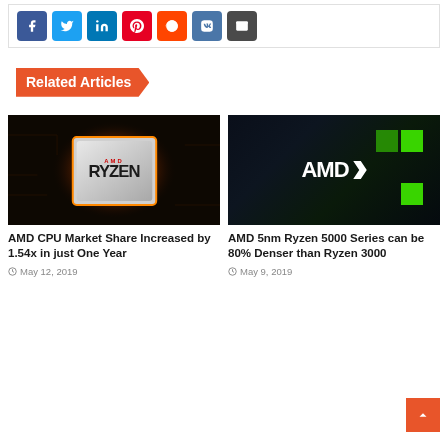[Figure (other): Social media share buttons: Facebook (blue), Twitter (light blue), LinkedIn (dark blue), Pinterest (red), Reddit (orange-red), VK (blue), Email (dark gray)]
Related Articles
[Figure (photo): AMD Ryzen processor/chip glowing with orange light on dark circuit board background]
AMD CPU Market Share Increased by 1.54x in just One Year
May 12, 2019
[Figure (photo): AMD logo on a dark background with green square accents]
AMD 5nm Ryzen 5000 Series can be 80% Denser than Ryzen 3000
May 9, 2019